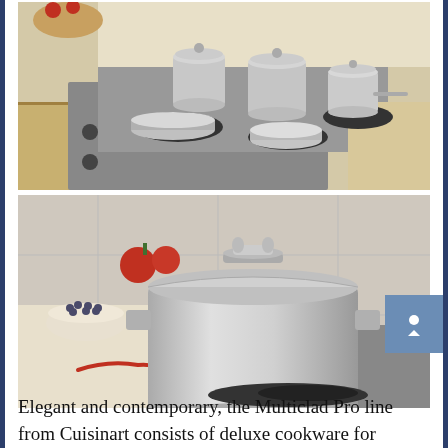[Figure (photo): Multiple stainless steel Cuisinart Multiclad Pro pots and pans arranged on a gas stovetop in a kitchen setting with granite countertops and wood cabinets.]
[Figure (photo): A single large stainless steel Cuisinart Multiclad Pro stockpot with lid on a gas stovetop, with vegetables and kitchen items visible in the background.]
Elegant and contemporary, the Multiclad Pro line from Cuisinart consists of deluxe cookware for